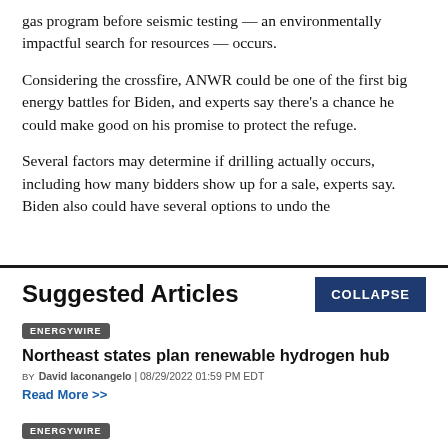gas program before seismic testing — an environmentally impactful search for resources — occurs.
Considering the crossfire, ANWR could be one of the first big energy battles for Biden, and experts say there's a chance he could make good on his promise to protect the refuge.
Several factors may determine if drilling actually occurs, including how many bidders show up for a sale, experts say. Biden also could have several options to undo the
Suggested Articles
COLLAPSE
ENERGYWIRE
Northeast states plan renewable hydrogen hub
BY David Iaconangelo | 08/29/2022 01:59 PM EDT
Read More >>
ENERGYWIRE
Trouble on pipeline's path hits home for Manchin